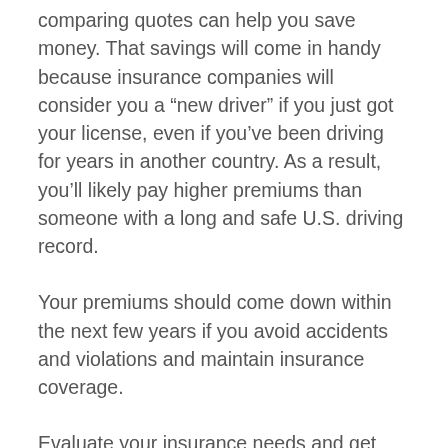comparing quotes can help you save money. That savings will come in handy because insurance companies will consider you a “new driver” if you just got your license, even if you’ve been driving for years in another country. As a result, you’ll likely pay higher premiums than someone with a long and safe U.S. driving record.
Your premiums should come down within the next few years if you avoid accidents and violations and maintain insurance coverage.
Evaluate your insurance needs and get quotes for coverage from several insurers again every year to ensure that you continue to get the best deal. Choose the company that offers the best price and service.
Low-cost insurance available in California